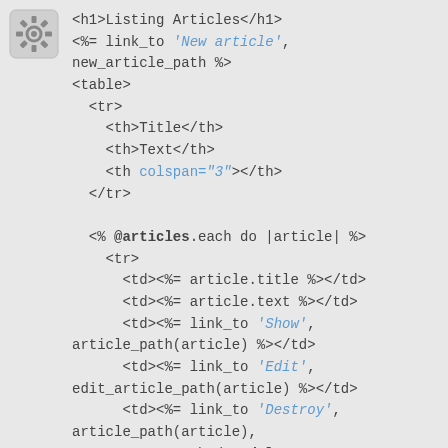[Figure (illustration): Gear/settings icon in upper left corner]
<h1>Listing Articles</h1>
<%= link_to 'New article',
new_article_path %>
<table>
  <tr>
    <th>Title</th>
    <th>Text</th>
    <th colspan="3"></th>
  </tr>

  <% @articles.each do |article| %>
    <tr>
      <td><%= article.title %></td>
      <td><%= article.text %></td>
      <td><%= link_to 'Show',
article_path(article) %></td>
      <td><%= link_to 'Edit',
edit_article_path(article) %></td>
      <td><%= link_to 'Destroy',
article_path(article),
              method: :delete,
              data: { confirm: 'Are you
sure?' } %></td>
    </tr>
  <% end %>